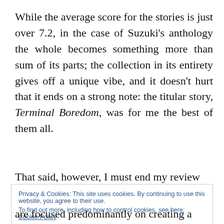While the average score for the stories is just over 7.2, in the case of Suzuki's anthology the whole becomes something more than sum of its parts; the collection in its entirety gives off a unique vibe, and it doesn't hurt that it ends on a strong note: the titular story, Terminal Boredom, was for me the best of them all.
That said, however, I must end my review
Privacy & Cookies: This site uses cookies. By continuing to use this website, you agree to their use.
To find out more, including how to control cookies, see here: Cookie Policy
[Close and accept]
are focused predominantly on creating a